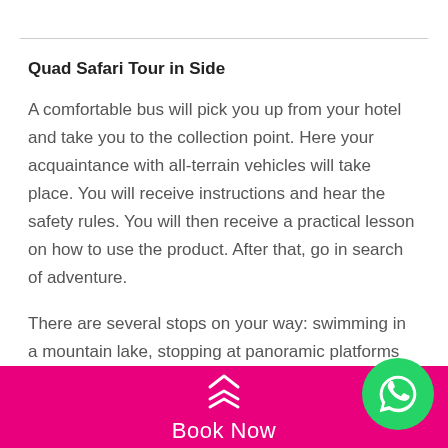Quad Safari Tour in Side
A comfortable bus will pick you up from your hotel and take you to the collection point. Here your acquaintance with all-terrain vehicles will take place. You will receive instructions and hear the safety rules. You will then receive a practical lesson on how to use the product. After that, go in search of adventure.
There are several stops on your way: swimming in a mountain lake, stopping at panoramic platforms with amazing views to capture those wonderful
Book Now